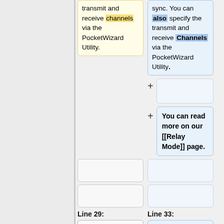transmit and receive channels via the PocketWizard Utility.
sync. You can also specify the transmit and receive Channels via the PocketWizard Utility.
You can read more on our [[Relay Mode]] page.
Line 29:
Line 33:
==Remote Camera Cables==
==Remote Camera Cables==